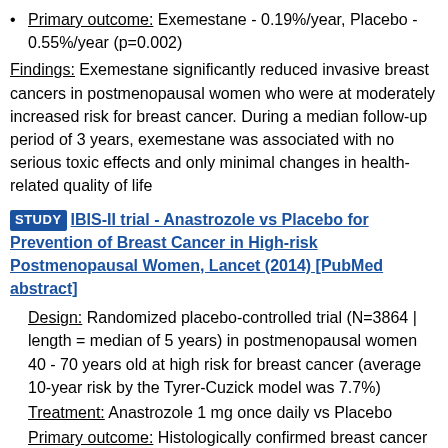Primary outcome: Exemestane - 0.19%/year, Placebo - 0.55%/year (p=0.002)
Findings: Exemestane significantly reduced invasive breast cancers in postmenopausal women who were at moderately increased risk for breast cancer. During a median follow-up period of 3 years, exemestane was associated with no serious toxic effects and only minimal changes in health-related quality of life
STUDY IBIS-II trial - Anastrozole vs Placebo for Prevention of Breast Cancer in High-risk Postmenopausal Women, Lancet (2014) [PubMed abstract]
Design: Randomized placebo-controlled trial (N=3864 | length = median of 5 years) in postmenopausal women 40 - 70 years old at high risk for breast cancer (average 10-year risk by the Tyrer-Cuzick model was 7.7%)
Treatment: Anastrozole 1 mg once daily vs Placebo
Primary outcome: Histologically confirmed breast cancer